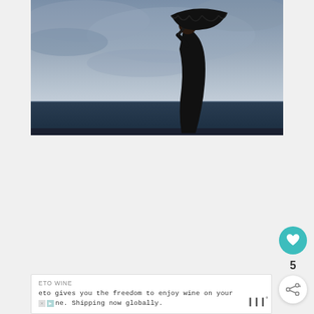[Figure (photo): A woman dressed in black bending forward in the wind, holding a black umbrella, standing against an ocean and stormy sky background]
[Figure (infographic): UI elements: teal heart/like button with count of 5, and a share button below it on the right side of the page]
ETO WINE
eto gives you the freedom to enjoy wine on your [X][>]ne. Shipping now globally.